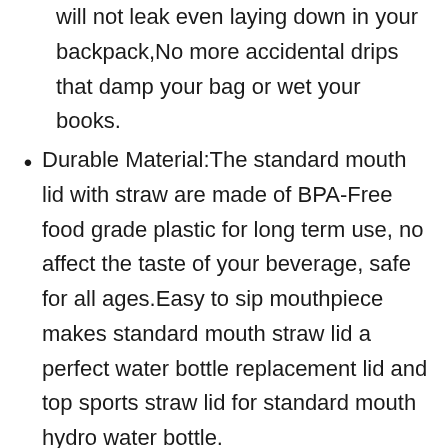will not leak even laying down in your backpack,No more accidental drips that damp your bag or wet your books.
Durable Material:The standard mouth lid with straw are made of BPA-Free food grade plastic for long term use, no affect the taste of your beverage, safe for all ages.Easy to sip mouthpiece makes standard mouth straw lid a perfect water bottle replacement lid and top sports straw lid for standard mouth hydro water bottle.
QUALITY GUARANTEED:You will get 1x straw lid, 2x straws 1x straw brush, enjoy high-quality product and customer service. Any unsatisfied purchase, full refund or replacement is available. REMINDER: NOT for wide or narrow mouth water bottle, NOT for